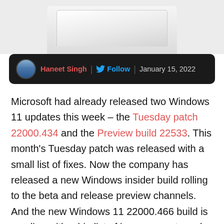[Figure (photo): Top portion of a laptop or tablet device photo, partially cropped, on light gray background]
Haneet Singh | Follow | January 15, 2022
Microsoft had already released two Windows 11 updates this week – the Tuesday patch 22000.434 and the Preview build 22533. This month's Tuesday patch was released with a small list of fixes. Now the company has released a new Windows insider build rolling to the beta and release preview channels. And the new Windows 11 22000.466 build is seeding with a big list of improvements and fixes. Here's everything you need to know about Windows 11 22000.466 update.